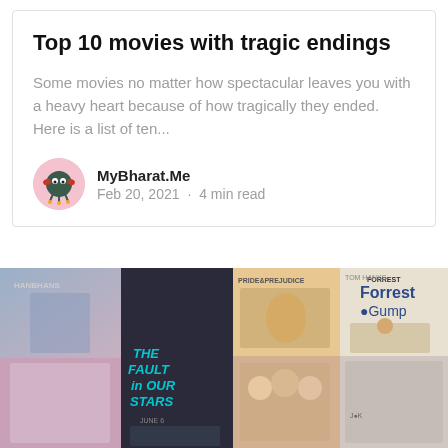Top 10 movies with tragic endings
Some movies no matter how spectacular leaves you with a heavy heart because of how tragically they ended. Here is a list of ten...
MyBharat.Me
Feb 20, 2021 · 4 min read
[Figure (photo): Collage of movie posters including The Fault in Our Stars, Pride and Prejudice, Forrest Gump, and others]